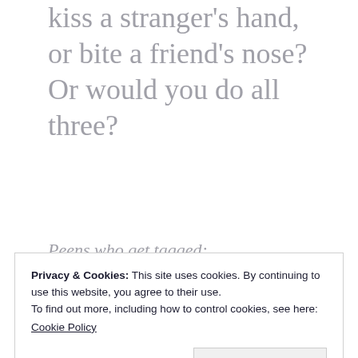kiss a stranger's hand, or bite a friend's nose? Or would you do all three?
Peens who get tagged:
Privacy & Cookies: This site uses cookies. By continuing to use this website, you agree to their use.
To find out more, including how to control cookies, see here:
Cookie Policy
Close and accept